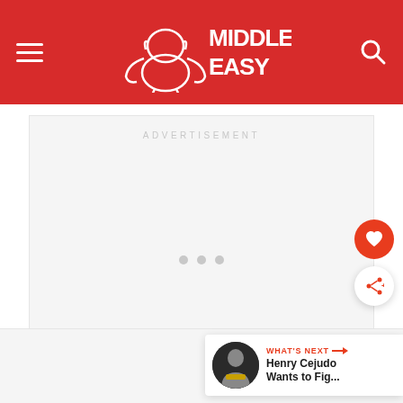MiddleEasy — navigation header with hamburger menu, logo, and search icon
[Figure (screenshot): Advertisement placeholder area with light gray background and 'ADVERTISEMENT' label text centered at top]
WHAT'S NEXT → Henry Cejudo Wants to Fig...